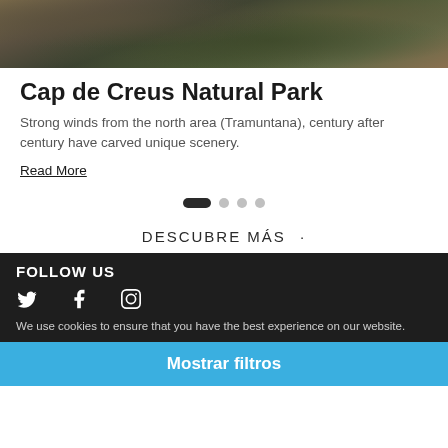[Figure (photo): Rocky mountainous landscape with moss-covered rocks, natural park scenery]
Cap de Creus Natural Park
Strong winds from the north area (Tramuntana), century after century have carved unique scenery.
Read More
[Figure (other): Carousel pagination dots: one active wide dot followed by three circular inactive dots]
DESCUBRE MÁS ·
FOLLOW US
[Figure (other): Social media icons: Twitter bird, Facebook f, Instagram camera logo]
We use cookies to ensure that you have the best experience on our website.
Mostrar filtros